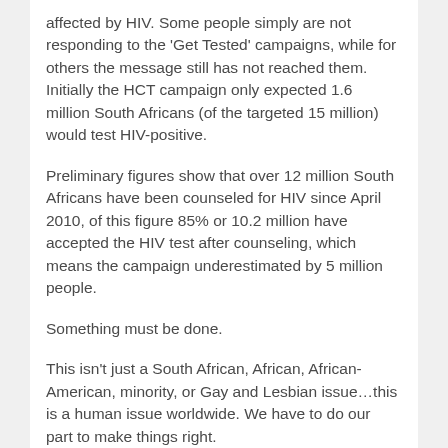affected by HIV. Some people simply are not responding to the 'Get Tested' campaigns, while for others the message still has not reached them. Initially the HCT campaign only expected 1.6 million South Africans (of the targeted 15 million) would test HIV-positive.
Preliminary figures show that over 12 million South Africans have been counseled for HIV since April 2010, of this figure 85% or 10.2 million have accepted the HIV test after counseling, which means the campaign underestimated by 5 million people.
Something must be done.
This isn't just a South African, African, African-American, minority, or Gay and Lesbian issue…this is a human issue worldwide. We have to do our part to make things right.
Read this article and share your thoughts, and what you